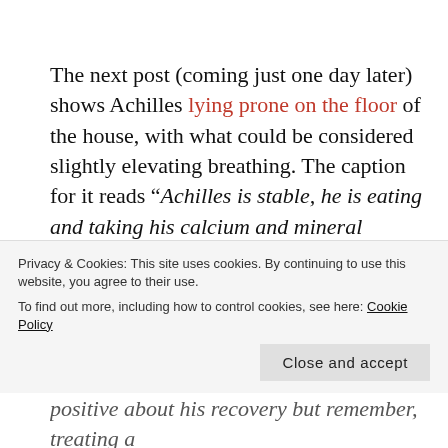The next post (coming just one day later) shows Achilles lying prone on the floor of the house, with what could be considered slightly elevating breathing. The caption for it reads “Achilles is stable, he is eating and taking his calcium and mineral complex. We can not get him into surgery because his bones need to be stronger, if not, he’ll break them again after the surgery. His pain has diminished (Not totally) because we don’t
Privacy & Cookies: This site uses cookies. By continuing to use this website, you agree to their use. To find out more, including how to control cookies, see here: Cookie Policy
positive about his recovery but remember, treating a